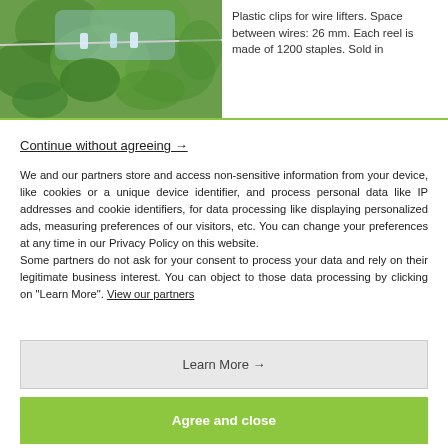[Figure (photo): Photo of plastic clips for wire lifters attached to vines with green leaves in the background]
Plastic clips for wire lifters. Space between wires: 26 mm. Each reel is made of 1200 staples. Sold in
Continue without agreeing →
We and our partners store and access non-sensitive information from your device, like cookies or a unique device identifier, and process personal data like IP addresses and cookie identifiers, for data processing like displaying personalized ads, measuring preferences of our visitors, etc. You can change your preferences at any time in our Privacy Policy on this website.
Some partners do not ask for your consent to process your data and rely on their legitimate business interest. You can object to those data processing by clicking on "Learn More". View our partners
Learn More →
Agree and close